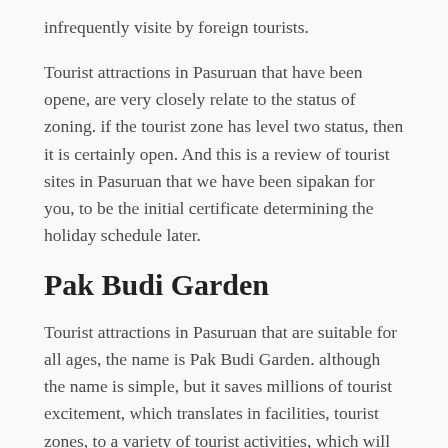infrequently visite by foreign tourists.
Tourist attractions in Pasuruan that have been opene, are very closely relate to the status of zoning. if the tourist zone has level two status, then it is certainly open. And this is a review of tourist sites in Pasuruan that we have been sipakan for you, to be the initial certificate determining the holiday schedule later.
Pak Budi Garden
Tourist attractions in Pasuruan that are suitable for all ages, the name is Pak Budi Garden. although the name is simple, but it saves millions of tourist excitement, which translates in facilities, tourist zones, to a variety of tourist activities, which will spoil the visitors.